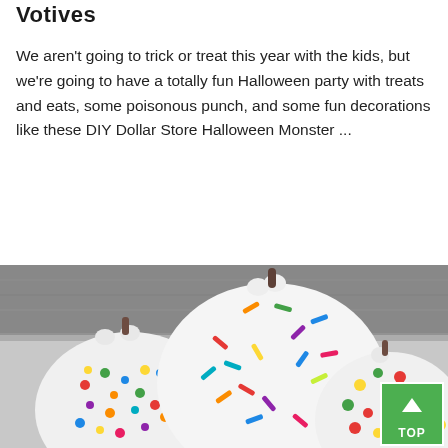Votives
We aren't going to trick or treat this year with the kids, but we're going to have a totally fun Halloween party with treats and eats, some poisonous punch, and some fun decorations like these DIY Dollar Store Halloween Monster ...
[Figure (photo): Three white decorative pumpkins shaped like monsters against a grey wooden background. The center pumpkin is large and covered in colorful sprinkles in various colors. The left pumpkin has colorful polka dots/gems. The right pumpkin has colorful round ball decorations. A green 'TOP' button with an upward arrow is visible in the bottom right corner.]